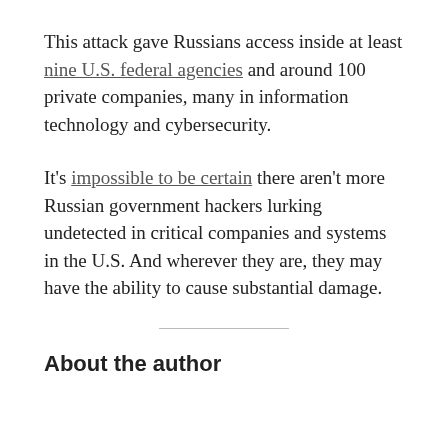This attack gave Russians access inside at least nine U.S. federal agencies and around 100 private companies, many in information technology and cybersecurity.
It's impossible to be certain there aren't more Russian government hackers lurking undetected in critical companies and systems in the U.S. And wherever they are, they may have the ability to cause substantial damage.
About the author